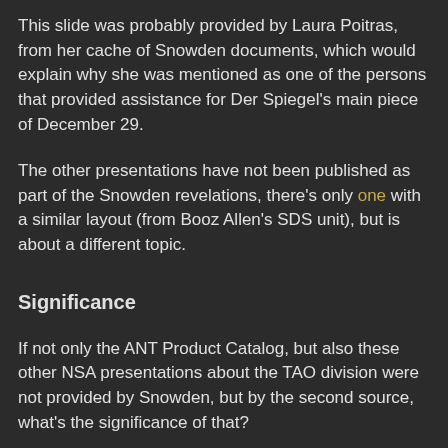This slide was probably provided by Laura Poitras, from her cache of Snowden documents, which would explain why she was mentioned as one of the persons that provided assistance for Der Spiegel's main piece of December 29.
The other presentations have not been published as part of the Snowden revelations, there's only one with a similar layout (from Booz Allen's SDS unit), but is about a different topic.
Significance
If not only the ANT Product Catalog, but also these other NSA presentations about the TAO division were not provided by Snowden, but by the second source, what's the significance of that?
Analysing the range of revelations that were not attributed to Snowden, resulted in the following list of documents that were likely leaked by the second source: